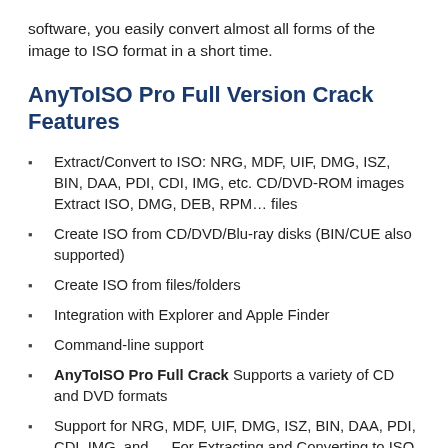software, you easily convert almost all forms of the image to ISO format in a short time.
AnyToISO Pro Full Version Crack Features
Extract/Convert to ISO: NRG, MDF, UIF, DMG, ISZ, BIN, DAA, PDI, CDI, IMG, etc. CD/DVD-ROM images Extract ISO, DMG, DEB, RPM… files
Create ISO from CD/DVD/Blu-ray disks (BIN/CUE also supported)
Create ISO from files/folders
Integration with Explorer and Apple Finder
Command-line support
AnyToISO Pro Full Crack Supports a variety of CD and DVD formats
Support for NRG, MDF, UIF, DMG, ISZ, BIN, DAA, PDI, CDI, IMG, and … For Extracting and Converting to ISO
Ability to create image files with ISO extensions from CDs,